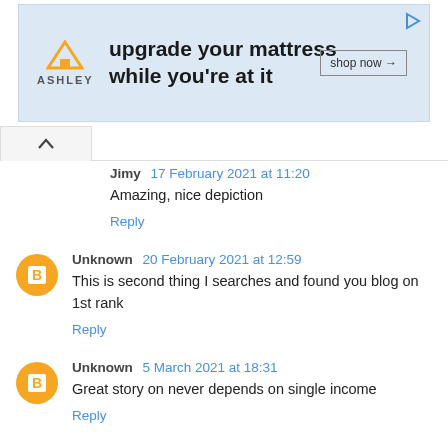[Figure (screenshot): Ashley Furniture advertisement banner: orange house icon with 'ASHLEY' brand name, text 'upgrade your mattress while you're at it', and a 'shop now →' button]
Jimy 17 February 2021 at 11:20
Amazing, nice depiction
Reply
Unknown 20 February 2021 at 12:59
This is second thing I searches and found you blog on 1st rank
Reply
Unknown 5 March 2021 at 18:31
Great story on never depends on single income
Reply